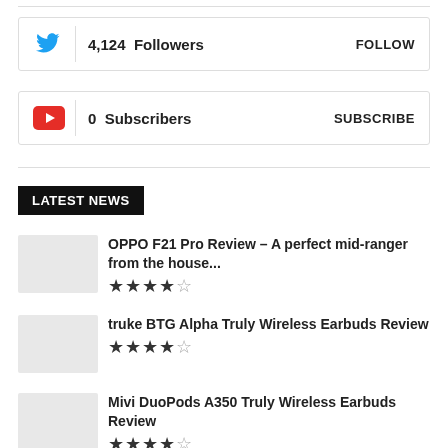4,124 Followers | FOLLOW
0 Subscribers | SUBSCRIBE
LATEST NEWS
OPPO F21 Pro Review – A perfect mid-ranger from the house... ★★★½☆
truke BTG Alpha Truly Wireless Earbuds Review ★★★★☆
Mivi DuoPods A350 Truly Wireless Earbuds Review ★★★★☆